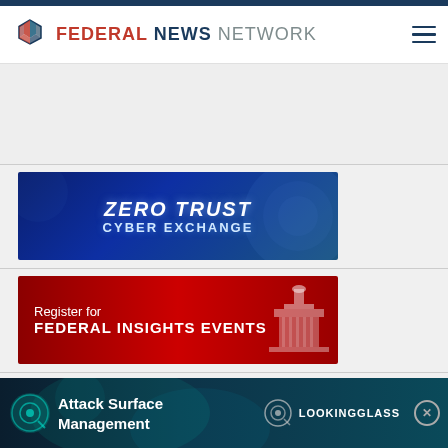Federal News Network
[Figure (screenshot): Ad placeholder area, light gray background]
[Figure (other): Zero Trust Cyber Exchange banner advertisement - dark blue background with metallic styled text]
[Figure (other): Register for Federal Insights Events banner advertisement - red background with Capitol building silhouette]
TOP STORIES
Appeals mandat
[Figure (other): Attack Surface Management - LookingGlass advertisement banner at bottom of page]